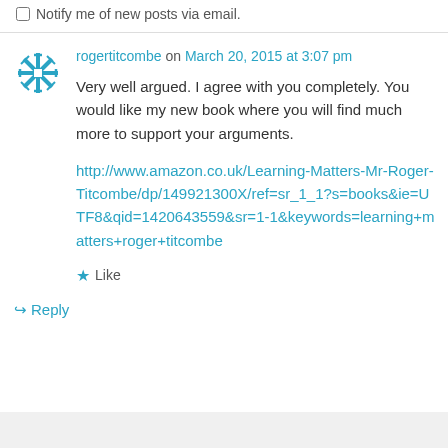Notify me of new posts via email.
rogertitcombe on March 20, 2015 at 3:07 pm
Very well argued. I agree with you completely. You would like my new book where you will find much more to support your arguments.
http://www.amazon.co.uk/Learning-Matters-Mr-Roger-Titcombe/dp/149921300X/ref=sr_1_1?s=books&ie=UTF8&qid=1420643559&sr=1-1&keywords=learning+matters+roger+titcombe
Like
Reply